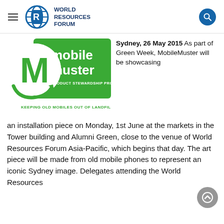World Resources Forum
[Figure (logo): MobileMuster logo — green circle with M, green rectangle reading 'mobile muster PRODUCT STEWARDSHIP PROGRAM', tagline 'KEEPING OLD MOBILES OUT OF LANDFILL']
Sydney, 26 May 2015 As part of Green Week, MobileMuster will be showcasing an installation piece on Monday, 1st June at the markets in the Tower building and Alumni Green, close to the venue of World Resources Forum Asia-Pacific, which begins that day. The art piece will be made from old mobile phones to represent an iconic Sydney image. Delegates attending the World Resources